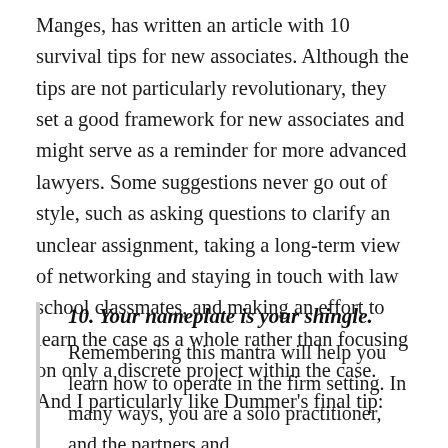Manges, has written an article with 10 survival tips for new associates. Although the tips are not particularly revolutionary, they set a good framework for new associates and might serve as a reminder for more advanced lawyers. Some suggestions never go out of style, such as asking questions to clarify an unclear assignment, taking a long-term view of networking and staying in touch with law school classmates, and making an effort to learn the case as a whole rather than focusing on only a discrete project within the case. And I particularly like Dummer's final tip:
10. Your nameplate is your shingle. Remembering this mantra will help you learn how to operate in the firm setting. In many ways, you are a solo practitioner, and the partners and